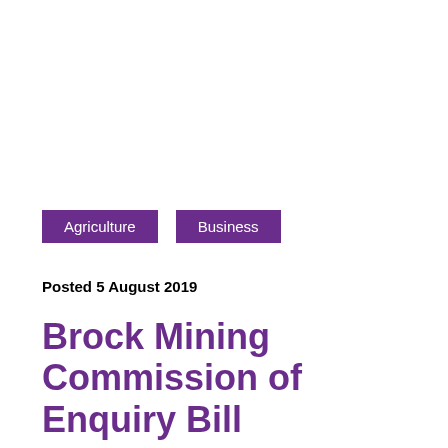Agriculture
Business
Posted 5 August 2019
Brock Mining Commission of Enquiry Bill